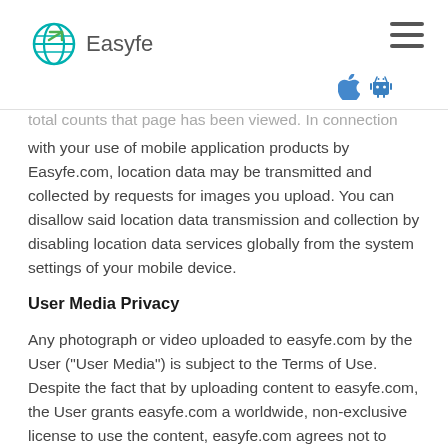Easyfe
total counts that page has been viewed. In connection with your use of mobile application products by Easyfe.com, location data may be transmitted and collected by requests for images you upload. You can disallow said location data transmission and collection by disabling location data services globally from the system settings of your mobile device.
User Media Privacy
Any photograph or video uploaded to easyfe.com by the User ("User Media") is subject to the Terms of Use. Despite the fact that by uploading content to easyfe.com, the User grants easyfe.com a worldwide, non-exclusive license to use the content, easyfe.com agrees not to distribute or otherwise make the same available except with your prior express consent.